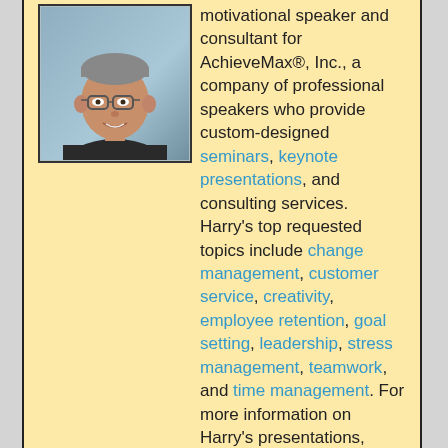[Figure (photo): Headshot photo of a middle-aged man with glasses, smiling, wearing a dark shirt, against a blue-grey background.]
motivational speaker and consultant for AchieveMax®, Inc., a company of professional speakers who provide custom-designed seminars, keynote presentations, and consulting services. Harry's top requested topics include change management, customer service, creativity, employee retention, goal setting, leadership, stress management, teamwork, and time management. For more information on Harry's presentations, please call 800-886-2629 or fill out our contact form.